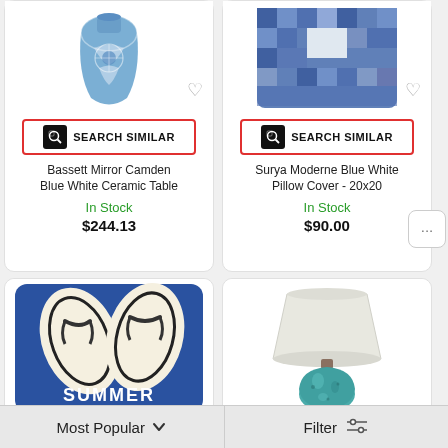[Figure (photo): Bassett Mirror Camden Blue White Ceramic Table vase product image]
SEARCH SIMILAR
Bassett Mirror Camden Blue White Ceramic Table
In Stock
$244.13
[Figure (photo): Surya Moderne Blue White Pillow Cover 20x20 product image]
SEARCH SIMILAR
Surya Moderne Blue White Pillow Cover - 20x20
In Stock
$90.00
[Figure (photo): Blue summer pillow with flip flop sandals and text SUMMER]
SEARCH SIMILAR
[Figure (photo): Teal ceramic table lamp with white drum shade]
SEARCH SIMILAR
Most Popular
Filter